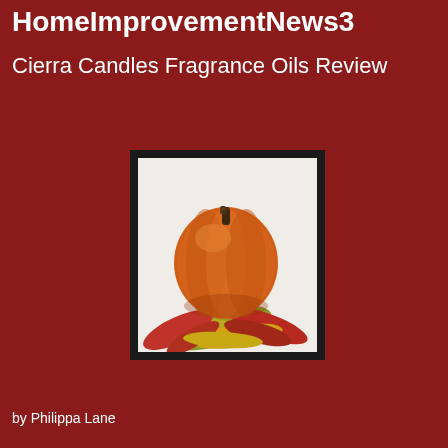HomeImprovementNews3
Cierra Candles Fragrance Oils Review
[Figure (photo): A round orange pumpkin sitting on top of colorful autumn leaves (red, yellow, green) against a white background, framed with a dark border.]
by Philippa Lane